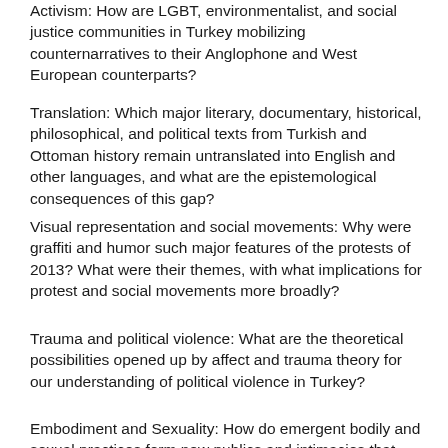Activism: How are LGBT, environmentalist, and social justice communities in Turkey mobilizing counternarratives to their Anglophone and West European counterparts?
Translation: Which major literary, documentary, historical, philosophical, and political texts from Turkish and Ottoman history remain untranslated into English and other languages, and what are the epistemological consequences of this gap?
Visual representation and social movements: Why were graffiti and humor such major features of the protests of 2013? What were their themes, with what implications for protest and social movements more broadly?
Trauma and political violence: What are the theoretical possibilities opened up by affect and trauma theory for our understanding of political violence in Turkey?
Embodiment and Sexuality: How do emergent bodily and sexual practices form new publics and intimacies that transcend the established orders of sexuality in Turkey?